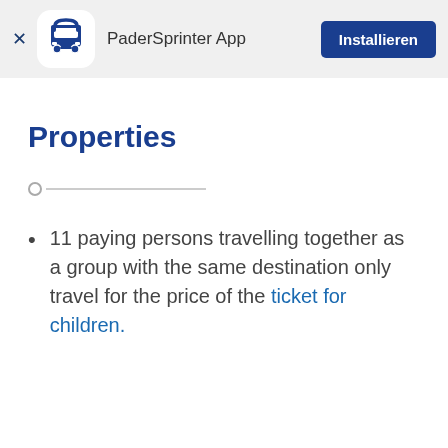[Figure (logo): PaderSprinter bus app icon — dark blue bus icon on white rounded square background]
PaderSprinter App  Installieren
Properties
11 paying persons travelling together as a group with the same destination only travel for the price of the ticket for children.